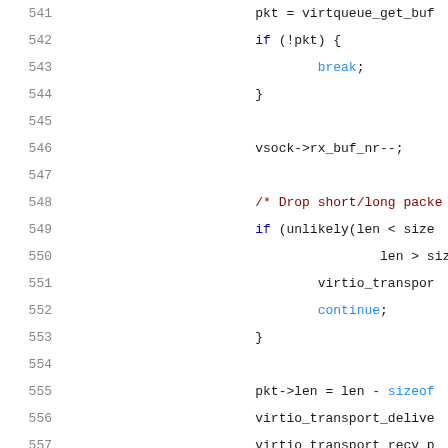[Figure (screenshot): Source code snippet showing lines 541-561 of a C file related to virtio vsock transport, displaying a loop that processes receive buffers including packet length validation and delivery.]